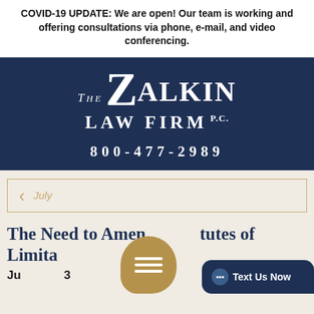COVID-19 UPDATE: We are open! Our team is working and offering consultations via phone, e-mail, and video conferencing.
[Figure (logo): The Zalkin Law Firm P.C. logo — white serif text on dark navy background, with large decorative Z]
800-477-2989
July
The Need to Amend Statutes of Limitations
July 3